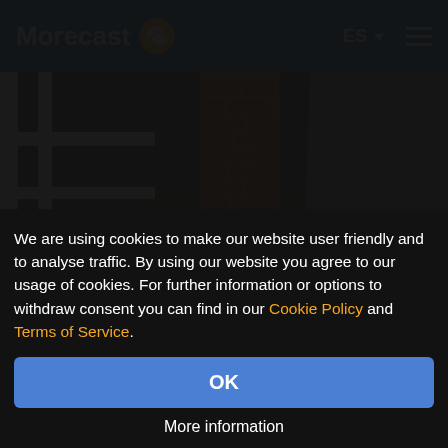Morecast
[Figure (photo): Outdoor photo showing a white fence post and a weathered brick column on a dark mulch ground with a paved road to the right, with a Morecast watermark badge]
4 Me gusta    1309 Visualizaciones
We are using cookies to make our website user friendly and to analyse traffic. By using our website you agree to our usage of cookies. For further information or options to withdraw consent you can find in our Cookie Policy and Terms of Service.
OK
More information